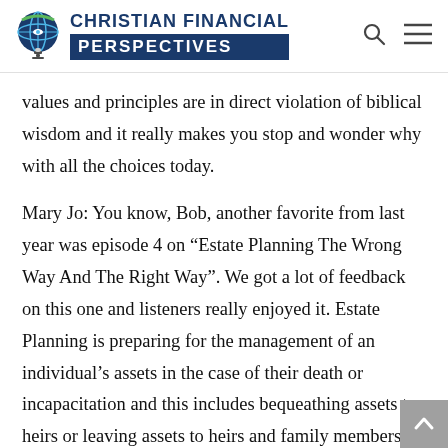CHRISTIAN FINANCIAL PERSPECTIVES
values and principles are in direct violation of biblical wisdom and it really makes you stop and wonder why with all the choices today.
Mary Jo: You know, Bob, another favorite from last year was episode 4 on “Estate Planning The Wrong Way And The Right Way”. We got a lot of feedback on this one and listeners really enjoyed it. Estate Planning is preparing for the management of an individual’s assets in the case of their death or incapacitation and this includes bequeathing assets to heirs or leaving assets to heirs and family members as well as the settlement of estate taxes. Your estate includes items such as your home or primary residence as well as vacation homes, land including farms and ranches, all your retirement and investment accounts, your bank and savings